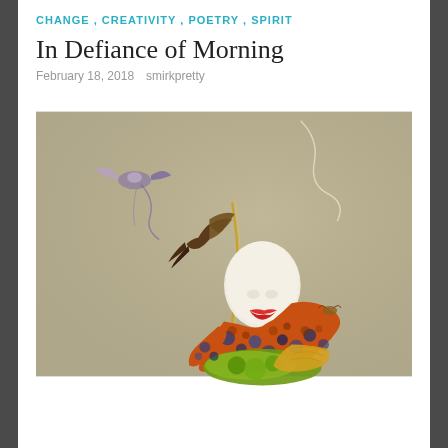CHANGE, CREATIVITY, POETRY, SPIRIT
In Defiance of Morning
February 18, 2018   smirkpretty
[Figure (illustration): A surrealist illustration of a bald figure wearing a colorful patterned garment covered in spots and swirls of orange, blue, green, and gold. The figure is bent forward with red lips. A bird or creature with dark wings appears to be landing on or departing from the figure's head. A golden chain-like element and a white wisp trail upward into the beige-gray background. Another small creature with wings is visible in the upper left.]